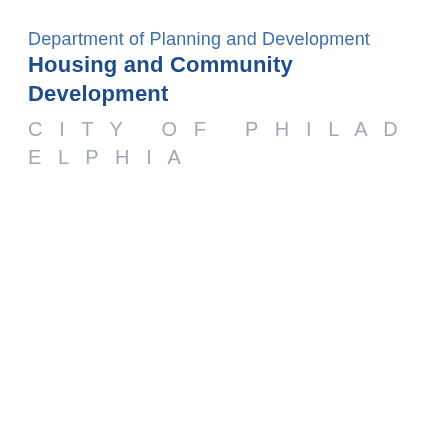Department of Planning and Development
Housing and Community Development
CITY OF PHILADELPHIA